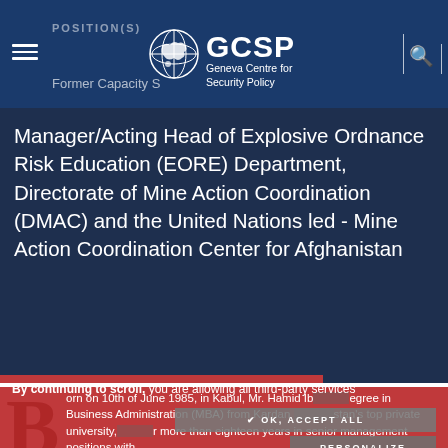GCSP — Geneva Centre for Security Policy
POSITION(S)
Former Capacity S...
Manager/Acting Head of Explosive Ordnance Risk Education (EORE) Department, Directorate of Mine Action Coordination (DMAC) and the United Nations led - Mine Action Coordination Center for Afghanistan
By continuing to scroll, you are allowing all third-party services
Born on 10th of June 1985, in Kabul, Mr. Hamid Ib... degree in Business Administration (MBA) from Kardan ...stan's top private university, ...r more than eighteen years in senior management positions with...